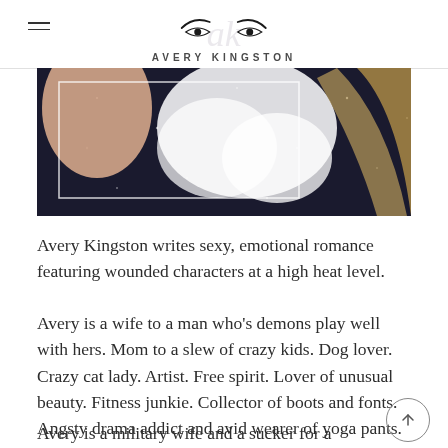AVERY KINGSTON
[Figure (photo): A dark, glittery background with a light-colored floral or abstract white shape and what appears to be a partially visible woman's face and blonde hair. A white rectangle border overlays the image.]
Avery Kingston writes sexy, emotional romance featuring wounded characters at a high heat level.
Avery is a wife to a man who's demons play well with hers. Mom to a slew of crazy kids. Dog lover. Crazy cat lady. Artist. Free spirit. Lover of unusual beauty. Fitness junkie. Collector of boots and fonts. Angsty drama addict and avid wearer of yoga pants.
Avery is a military wife and a sucker for a good wounded hero story. She set out to write stories